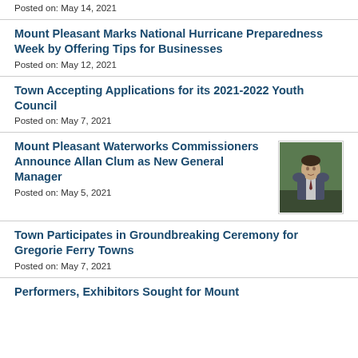Posted on: May 14, 2021
Mount Pleasant Marks National Hurricane Preparedness Week by Offering Tips for Businesses
Posted on: May 12, 2021
Town Accepting Applications for its 2021-2022 Youth Council
Posted on: May 7, 2021
Mount Pleasant Waterworks Commissioners Announce Allan Clum as New General Manager
[Figure (photo): Portrait photo of Allan Clum, a man in a suit standing outdoors with tropical foliage in background]
Posted on: May 5, 2021
Town Participates in Groundbreaking Ceremony for Gregorie Ferry Towns
Posted on: May 7, 2021
Performers, Exhibitors Sought for Mount